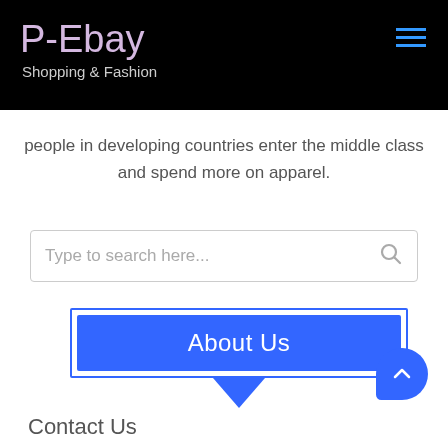P-Ebay Shopping & Fashion
people in developing countries enter the middle class and spend more on apparel.
[Figure (screenshot): Search box with placeholder text 'Type to search here...' and a search icon on the right]
[Figure (screenshot): Blue 'About Us' button with blue border frame and downward pointing arrow below]
[Figure (screenshot): Blue circular scroll-to-top button with upward chevron arrow]
Contact Us